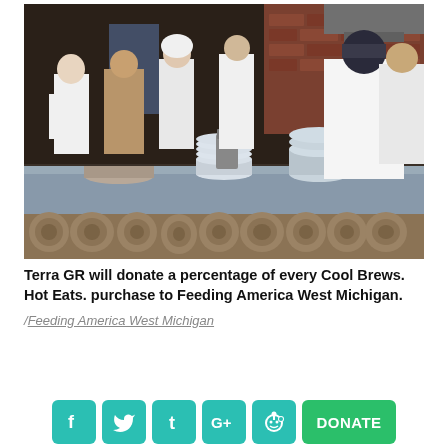[Figure (photo): Restaurant kitchen scene with multiple chefs in white uniforms working at a large stainless steel prep counter. Stacks of white plates, bowls, and utensil holders visible on the counter. Background shows brick walls, kitchen equipment, and shelving. Foreground base of counter features cross-sections of log rounds.]
Terra GR will donate a percentage of every Cool Brews. Hot Eats. purchase to Feeding America West Michigan.
/Feeding America West Michigan